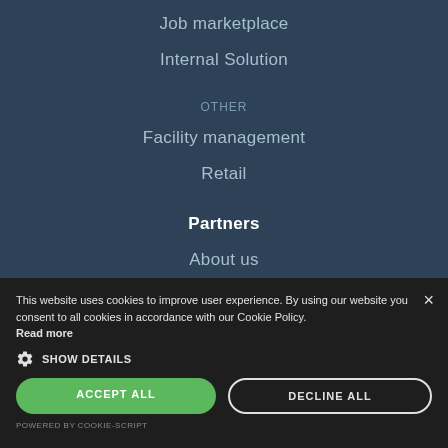Job marketplace
Internal Solution
OTHER
Facility management
Retail
Partners
About us
Contact
This website uses cookies to improve user experience. By using our website you consent to all cookies in accordance with our Cookie Policy. Read more
SHOW DETAILS
ACCEPT ALL
DECLINE ALL
POWERED BY COOKIE-SCRIPT